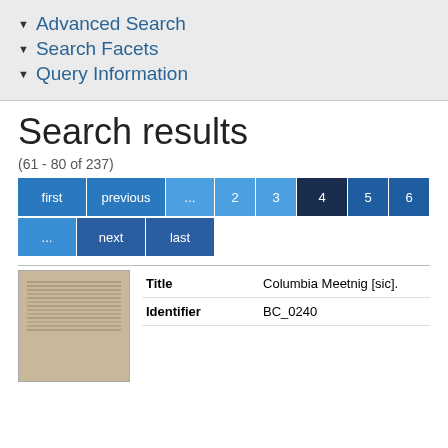Advanced Search
Search Facets
Query Information
Search results
(61 - 80 of 237)
first  previous  ...  2  3  4  5  6  ...  next  last
| Title | Columbia Meetnig [sic]. |
| --- | --- |
| Identifier | BC_0240 |